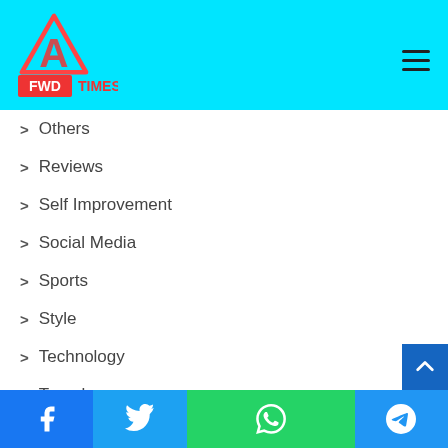[Figure (logo): FWD Times logo with red triangle/A symbol on cyan background]
Others
Reviews
Self Improvement
Social Media
Sports
Style
Technology
Travel
Website
[Figure (infographic): Social media share buttons: Facebook (blue), Twitter (light blue), WhatsApp (green), Telegram (blue)]